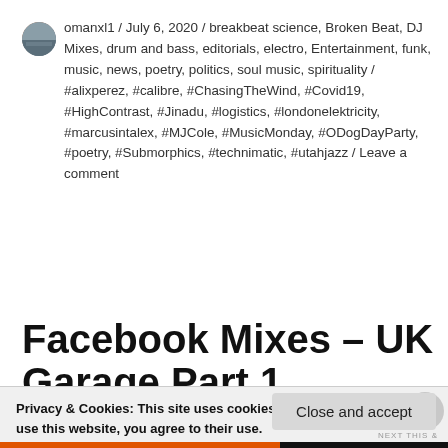omanxl1 / July 6, 2020 / breakbeat science, Broken Beat, DJ Mixes, drum and bass, editorials, electro, Entertainment, funk, music, news, poetry, politics, soul music, spirituality / #alixperez, #calibre, #ChasingTheWind, #Covid19, #HighContrast, #Jinadu, #logistics, #londonelektricity, #marcusintalex, #MJCole, #MusicMonday, #ODogDayParty, #poetry, #Submorphics, #technimatic, #utahjazz / Leave a comment
Facebook Mixes – UK Garage Part 1
Privacy & Cookies: This site uses cookies. By continuing to use this website, you agree to their use.
To find out more, including how to control cookies, see here:
Cookie Policy
Close and accept